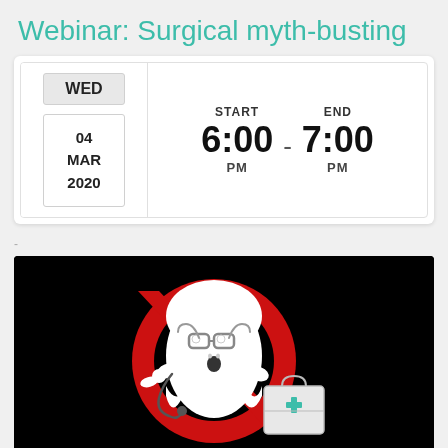Webinar: Surgical myth-busting
WED  04 MAR 2020  START 6:00 PM  END 7:00 PM
[Figure (illustration): Ghostbusters-style logo with a medical ghost character wearing glasses, holding a stethoscope and a first aid/medical kit, with a red no-entry circle and diagonal bar, on a black background.]